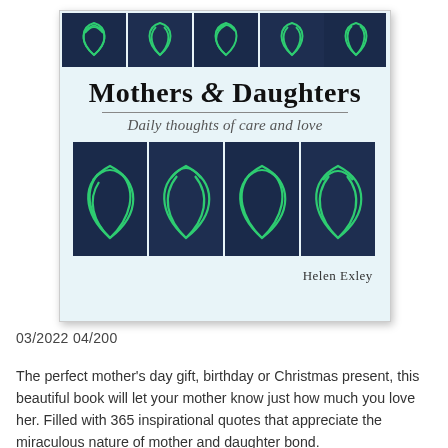[Figure (photo): Book cover for 'Mothers & Daughters: Daily thoughts of care and love' by Helen Exley. Light blue background with a top strip and bottom strip of dark navy tiles each containing green heart/leaf line-art designs. The title is in large bold serif font, subtitle in italic gray. Helen Exley signature at bottom right.]
03/2022 04/200
The perfect mother's day gift, birthday or Christmas present, this beautiful book will let your mother know just how much you love her. Filled with 365 inspirational quotes that appreciate the miraculous nature of mother and daughter bond.